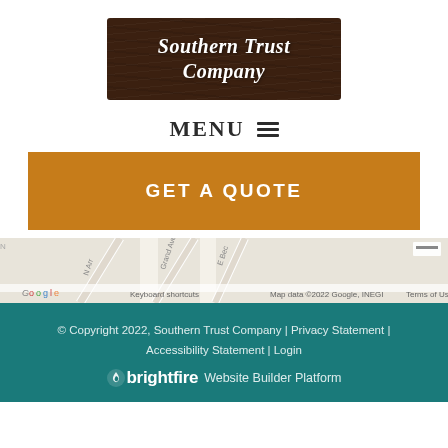[Figure (logo): Southern Trust Company logo — white italic script on dark wood-grain brown background]
MENU ☰
GET A QUOTE
[Figure (map): Google Maps snippet showing street map with N Arroyo, Grand Ave, E Beck roads labeled; Google logo and Map data ©2022 Google, INEGI, Terms of Use visible]
© Copyright 2022, Southern Trust Company | Privacy Statement | Accessibility Statement | Login
brightfire Website Builder Platform